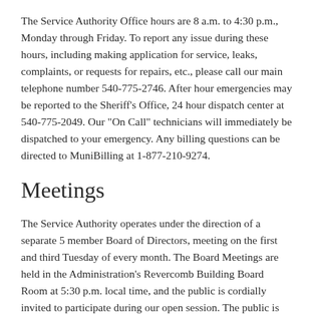The Service Authority Office hours are 8 a.m. to 4:30 p.m., Monday through Friday. To report any issue during these hours, including making application for service, leaks, complaints, or requests for repairs, etc., please call our main telephone number 540-775-2746. After hour emergencies may be reported to the Sheriff's Office, 24 hour dispatch center at 540-775-2049. Our "On Call" technicians will immediately be dispatched to your emergency. Any billing questions can be directed to MuniBilling at 1-877-210-9274.
Meetings
The Service Authority operates under the direction of a separate 5 member Board of Directors, meeting on the first and third Tuesday of every month. The Board Meetings are held in the Administration's Revercomb Building Board Room at 5:30 p.m. local time, and the public is cordially invited to participate during our open session. The public is invited to discuss any topic of concern they may have, to provide